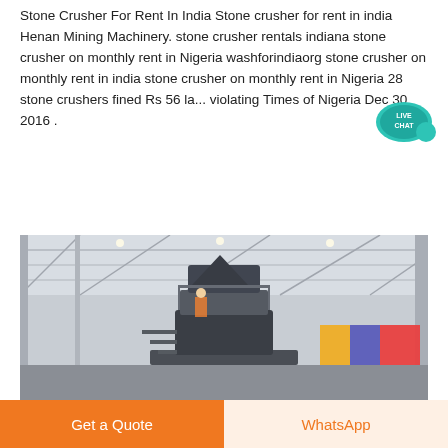Stone Crusher For Rent In India Stone crusher for rent in india Henan Mining Machinery. stone crusher rentals indiana stone crusher on monthly rent in Nigeria washforindiaorg stone crusher on monthly rent in india stone crusher on monthly rent in Nigeria 28 stone crushers fined Rs 56 la... violating Times of Nigeria Dec 30 2016 .
Learn More →
[Figure (photo): Large industrial stone crusher machine displayed inside a factory/exhibition hall with steel framework ceiling, natural lighting, and colorful banners visible in the background.]
[Figure (illustration): Live Chat speech bubble icon in teal/blue color with white text reading LIVE CHAT]
Get a Quote
WhatsApp